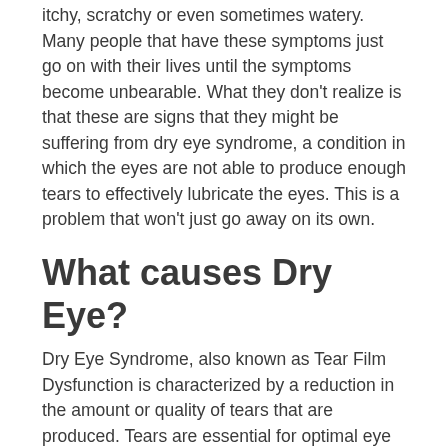itchy, scratchy or even sometimes watery. Many people that have these symptoms just go on with their lives until the symptoms become unbearable. What they don't realize is that these are signs that they might be suffering from dry eye syndrome, a condition in which the eyes are not able to produce enough tears to effectively lubricate the eyes. This is a problem that won't just go away on its own.
What causes Dry Eye?
Dry Eye Syndrome, also known as Tear Film Dysfunction is characterized by a reduction in the amount or quality of tears that are produced. Tears are essential for optimal eye health, vision and comfort. Ideally, tear film covers the eyes at all times to prevent the eyes from drying out and to ensure clear vision. If the glands that produce tears start to produce fewer tears or tears that don't have the proper balance of water, oils, proteins and electrolytes, the tear film with become unstable, allowing